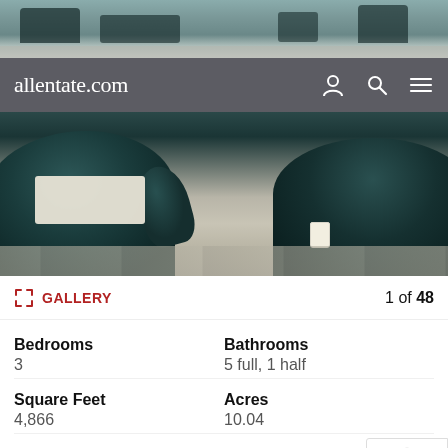[Figure (photo): Top strip of outdoor patio with wicker furniture, wood floor visible at top of page]
allentate.com
[Figure (photo): Outdoor patio photo showing dark wicker chairs with white cushions on wood-plank flooring, a white cup visible]
GALLERY  1 of 48
Bedrooms
3
Bathrooms
5 full, 1 half
Square Feet
4,866
Acres
10.04
Type
Residential
MLS#
233194